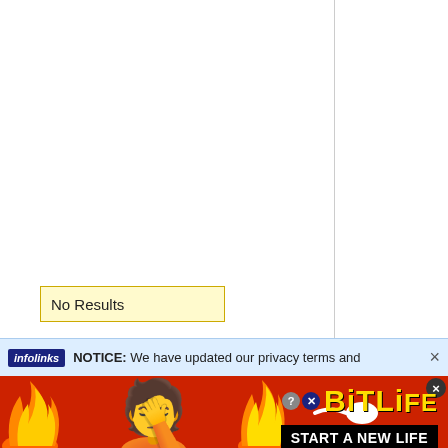No Results
NOTICE: We have updated our privacy terms and
[Figure (screenshot): BitLife game advertisement banner with red background, FAIL text, facepalm emoji, flame graphics, sperm icon, BitLife logo in yellow, and START A NEW LIFE button]